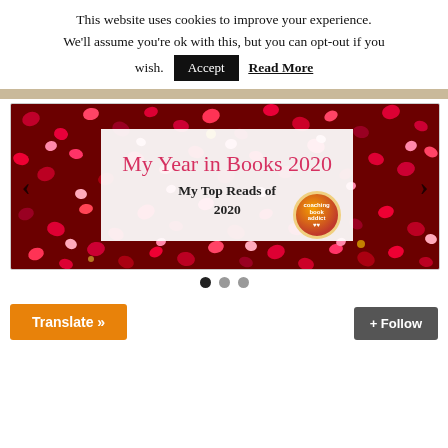This website uses cookies to improve your experience. We'll assume you're ok with this, but you can opt-out if you wish.
Accept  Read More
[Figure (photo): Slideshow banner image showing red heart confetti background with a white text box overlay reading 'My Year in Books 2020 / My Top Reads of 2020' in script and serif fonts, with a circular badge logo on the right side. Navigation arrows on left and right sides.]
● ● ●
Translate »
+ Follow